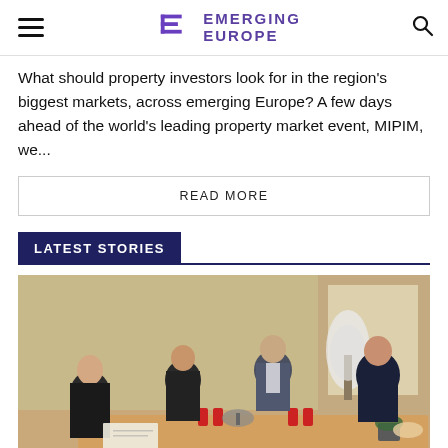Emerging Europe
What should property investors look for in the region's biggest markets, across emerging Europe? A few days ahead of the world's leading property market event, MIPIM, we...
READ MORE
LATEST STORIES
[Figure (photo): Men in suits seated around a conference table in a meeting room, with Coca-Cola cans and documents on the table, and a plant in the background.]